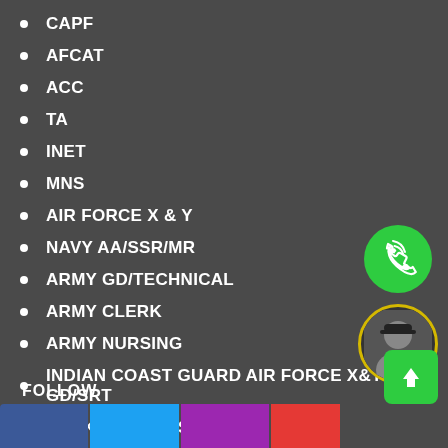CAPF
AFCAT
ACC
TA
INET
MNS
AIR FORCE X & Y
NAVY AA/SSR/MR
ARMY GD/TECHNICAL
ARMY CLERK
ARMY NURSING
INDIAN COAST GUARD AIR FORCE X&Y GD/SRT
SPOKEN ENGLISH
FOLLOW